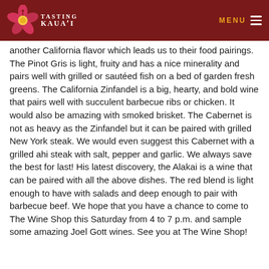Tasting Kauaʻi | MENU
another California flavor which leads us to their food pairings. The Pinot Gris is light, fruity and has a nice minerality and pairs well with grilled or sautéed fish on a bed of garden fresh greens. The California Zinfandel is a big, hearty, and bold wine that pairs well with succulent barbecue ribs or chicken. It would also be amazing with smoked brisket. The Cabernet is not as heavy as the Zinfandel but it can be paired with grilled New York steak. We would even suggest this Cabernet with a grilled ahi steak with salt, pepper and garlic. We always save the best for last! His latest discovery, the Alakai is a wine that can be paired with all the above dishes. The red blend is light enough to have with salads and deep enough to pair with barbecue beef. We hope that you have a chance to come to The Wine Shop this Saturday from 4 to 7 p.m. and sample some amazing Joel Gott wines. See you at The Wine Shop!